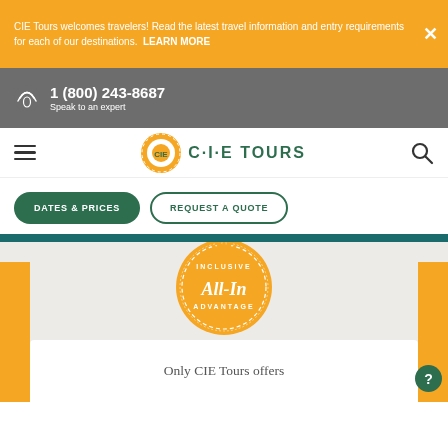CIE Tours welcomes travelers! Read the latest travel information and entry requirements for each of our destinations. LEARN MORE
1 (800) 243-8687 Speak to an expert
[Figure (logo): CIE Tours logo with orange circular emblem and green text]
DATES & PRICES
REQUEST A QUOTE
[Figure (logo): All-In Inclusive Advantage orange badge/seal]
Only CIE Tours offers